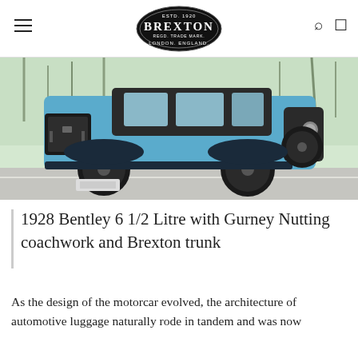Brexton — ESTD. 1920, REGD. TRADE MARK. LONDON. ENGLAND.
[Figure (photo): A blue 1928 Bentley 6 1/2 Litre automobile with Gurney Nutting coachwork and a Brexton trunk mounted on the rear, parked on a road with bare winter trees in the background.]
1928 Bentley 6 1/2 Litre with Gurney Nutting coachwork and Brexton trunk
As the design of the motorcar evolved, the architecture of automotive luggage naturally rode in tandem and was now